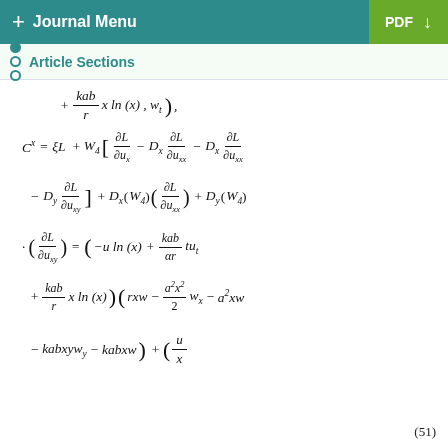+ Journal Menu | PDF
Article Sections